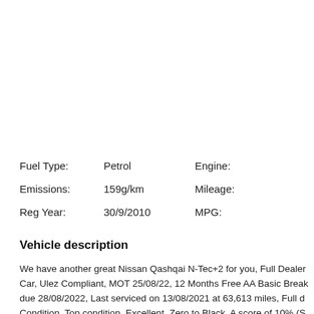| Label | Value | Label2 |
| --- | --- | --- |
| Fuel Type: | Petrol | Engine: |
| Emissions: | 159g/km | Mileage: |
| Reg Year: | 30/9/2010 | MPG: |
Vehicle description
We have another great Nissan Qashqai N-Tec+2 for you, Full Dealer History Car, Ulez Compliant, MOT 25/08/22, 12 Months Free AA Basic Breakdown due 28/08/2022, Last serviced on 13/08/2021 at 63,613 miles, Full d... Condition, Top condition, Excellent, Zero to Black, A score of 10% (S...